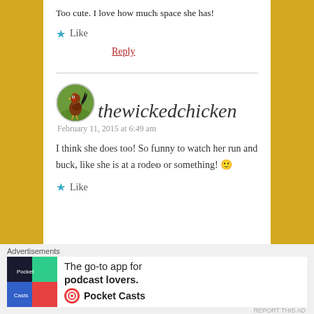Too cute. I love how much space she has!
Like
Reply
[Figure (photo): Circular avatar of a rooster/chicken on green grass]
thewickedchicken
February 11, 2015 at 6:49 am
I think she does too! So funny to watch her run and buck, like she is at a rodeo or something! 🙂
Like
Advertisements
[Figure (screenshot): Pocket Casts advertisement: The go-to app for podcast lovers.]